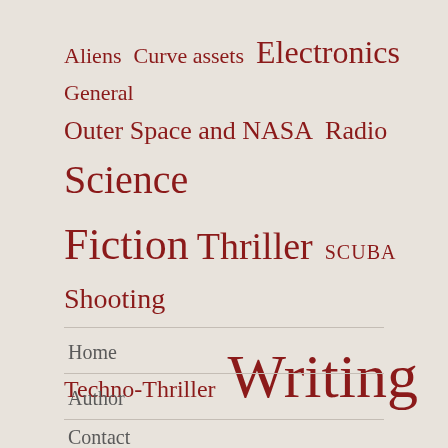[Figure (infographic): Tag cloud with items in red serif text at varying sizes: Aliens, Curve assets, Electronics, General, Outer Space and NASA, Radio, Science Fiction, Thriller, SCUBA, Shooting, Techno-Thriller, Writing]
Home
Author
Contact
Proudly powered by WordPress